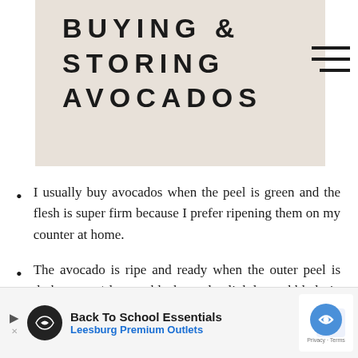BUYING & STORING AVOCADOS
I usually buy avocados when the peel is green and the flesh is super firm because I prefer ripening them on my counter at home.
The avocado is ripe and ready when the outer peel is dark green/almost black and slightly pebbled in appearance. When pressed on gently with a finger, there will be some give.
If I need to ripen avocados as soon as possible, I place them in a brown bag with some ripe bananas and close the top of t…